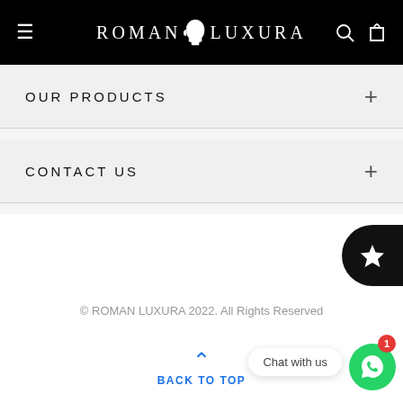ROMAN LUXURA
OUR PRODUCTS
CONTACT US
© ROMAN LUXURA 2022. All Rights Reserved
BACK TO TOP
Chat with us